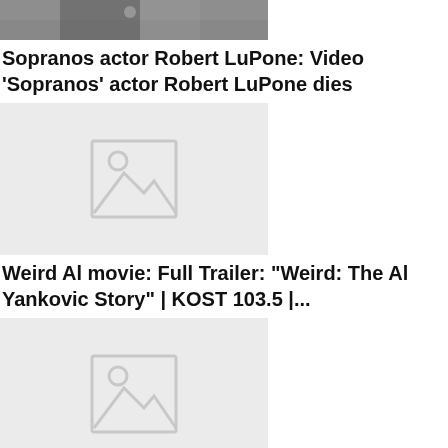[Figure (photo): Partial top image of person, cropped, dark background]
Sopranos actor Robert LuPone: Video 'Sopranos' actor Robert LuPone dies
[Figure (photo): Image placeholder thumbnail with mountain and circle icon]
Weird Al movie: Full Trailer: "Weird: The Al Yankovic Story" | KOST 103.5 |...
[Figure (photo): Image placeholder thumbnail with mountain and circle icon]
Mitch Trubisky: Mitch Trubisky Aces Final Test in Steelers QB Battle